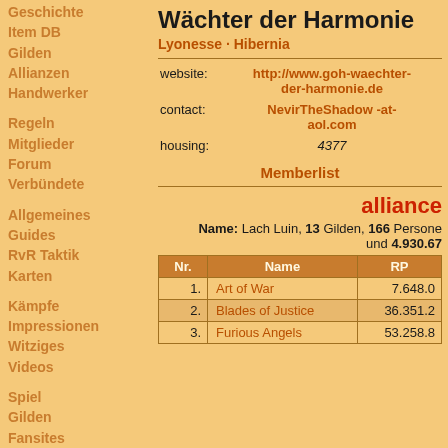Geschichte
Item DB
Gilden
Allianzen
Handwerker
Regeln
Mitglieder
Forum
Verbündete
Allgemeines
Guides
RvR Taktik
Karten
Kämpfe
Impressionen
Witziges
Videos
Spiel
Gilden
Fansites
Wächter der Harmonie
Lyonesse · Hibernia
|  |  |
| --- | --- |
| website: | http://www.goh-waechter-der-harmonie.de |
| contact: | NevirTheShadow -at- aol.com |
| housing: | 4377 |
Memberlist
alliance
Name: Lach Luin, 13 Gilden, 166 Personen und 4.930.67
| Nr. | Name | RP |
| --- | --- | --- |
| 1. | Art of War | 7.648.0 |
| 2. | Blades of Justice | 36.351.2 |
| 3. | Furious Angels | 53.258.8 |